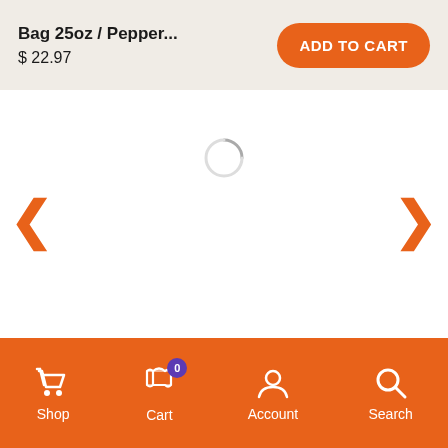Bag 25oz / Pepper...
$ 22.97
ADD TO CART
[Figure (screenshot): E-commerce product page showing a loading spinner in the center of an image carousel area, with left and right orange chevron navigation arrows. Below are 13 outlined circle dots and one filled orange dot as a carousel position indicator. Price reads $ 22.97. Bottom navigation bar contains Shop, Cart (with badge 0), Account, and Search icons on orange background.]
Price: $ 22.97
Shop  Cart  Account  Search